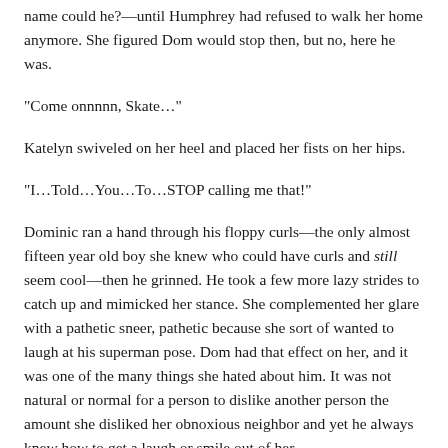name could he?—until Humphrey had refused to walk her home anymore. She figured Dom would stop then, but no, here he was.
“Come onnnnn, Skate…”
Katelyn swiveled on her heel and placed her fists on her hips.
“I…Told…You…To…STOP calling me that!”
Dominic ran a hand through his floppy curls—the only almost fifteen year old boy she knew who could have curls and still seem cool—then he grinned. He took a few more lazy strides to catch up and mimicked her stance. She complemented her glare with a pathetic sneer, pathetic because she sort of wanted to laugh at his superman pose. Dom had that effect on her, and it was one of the many things she hated about him. It was not natural or normal for a person to dislike another person the amount she disliked her obnoxious neighbor and yet he always knew how to get a laugh or smile out of her.